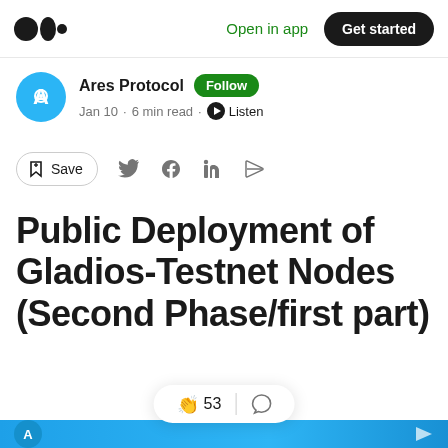Open in app  Get started
Ares Protocol  Follow
Jan 10 · 6 min read · Listen
Save
Public Deployment of Gladios-Testnet Nodes (Second Phase/first part)
53